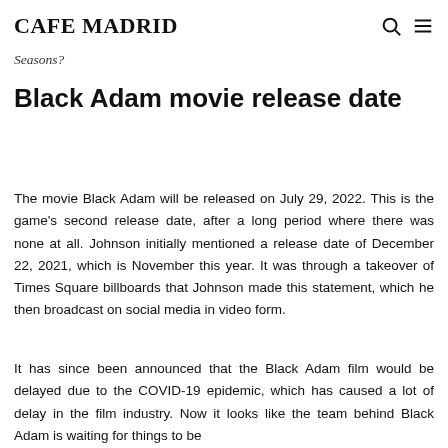CAFE MADRID
Seasons?
Black Adam movie release date
The movie Black Adam will be released on July 29, 2022. This is the game's second release date, after a long period where there was none at all. Johnson initially mentioned a release date of December 22, 2021, which is November this year. It was through a takeover of Times Square billboards that Johnson made this statement, which he then broadcast on social media in video form.
It has since been announced that the Black Adam film would be delayed due to the COVID-19 epidemic, which has caused a lot of delay in the film industry. Now it looks like the team behind Black Adam is waiting for things to be